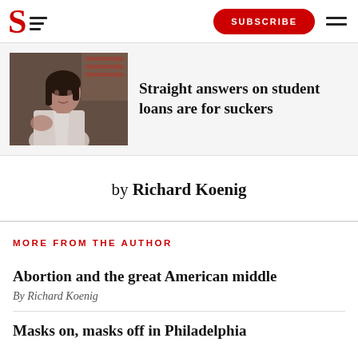S SUBSCRIBE
[Figure (photo): Photo of a woman in a white blazer speaking or gesturing, with an American flag in the background]
Straight answers on student loans are for suckers
by Richard Koenig
MORE FROM THE AUTHOR
Abortion and the great American middle
By Richard Koenig
Masks on, masks off in Philadelphia